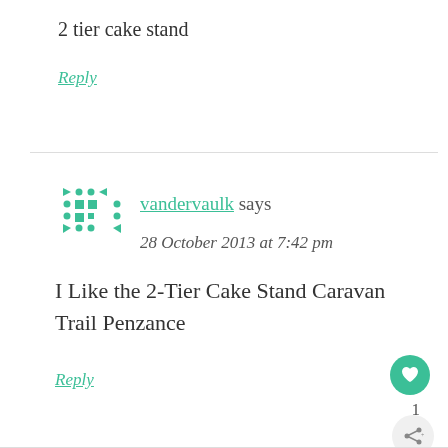2 tier cake stand
Reply
[Figure (illustration): Teal/green pixel avatar icon with geometric pattern]
vandervaulk says
28 October 2013 at 7:42 pm
I Like the 2-Tier Cake Stand Caravan Trail Penzance
Reply